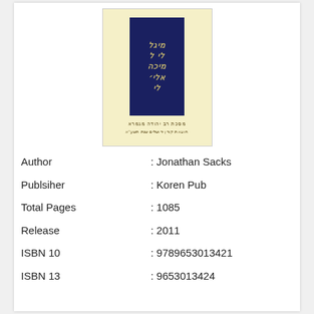[Figure (illustration): Book cover with cream/yellow background showing a dark navy blue rectangle with stylized Hebrew/calligraphic text in gold, and additional Hebrew text below on the cream background]
| Author | : Jonathan Sacks |
| Publsiher | : Koren Pub |
| Total Pages | : 1085 |
| Release | : 2011 |
| ISBN 10 | : 9789653013421 |
| ISBN 13 | : 9653013424 |